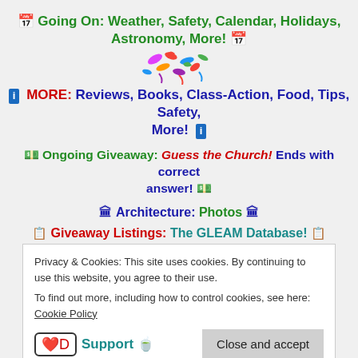📅 Going On: Weather, Safety, Calendar, Holidays, Astronomy, More! 📅
[Figure (illustration): Colorful confetti/party decoration illustration]
ℹ MORE: Reviews, Books, Class-Action, Food, Tips, Safety, More! ℹ
💵 Ongoing Giveaway: Guess the Church! Ends with correct answer! 💵
🏛 Architecture: Photos 🏛
📋 Giveaway Listings: The GLEAM Database! 📋
✏ Monthly: Class Action Database! ✏
Privacy & Cookies: This site uses cookies. By continuing to use this website, you agree to their use. To find out more, including how to control cookies, see here: Cookie Policy
Support 🍵
Close and accept
🚀 Latest NASA Posts 🚀